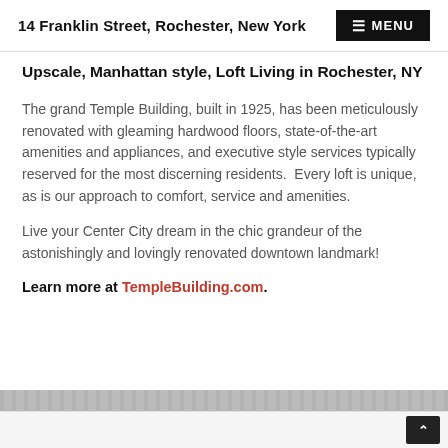14 Franklin Street, Rochester, New York
Upscale, Manhattan style, Loft Living in Rochester, NY
The grand Temple Building, built in 1925, has been meticulously renovated with gleaming hardwood floors, state-of-the-art amenities and appliances, and executive style services typically reserved for the most discerning residents. Every loft is unique, as is our approach to comfort, service and amenities.
Live your Center City dream in the chic grandeur of the astonishingly and lovingly renovated downtown landmark!
Learn more at TempleBuilding.com.